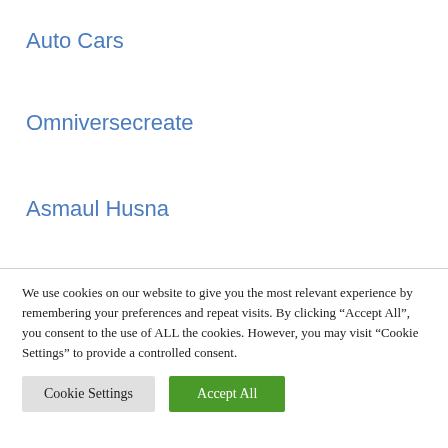Auto Cars
Omniversecreate
Asmaul Husna
We use cookies on our website to give you the most relevant experience by remembering your preferences and repeat visits. By clicking "Accept All", you consent to the use of ALL the cookies. However, you may visit "Cookie Settings" to provide a controlled consent.
Cookie Settings
Accept All